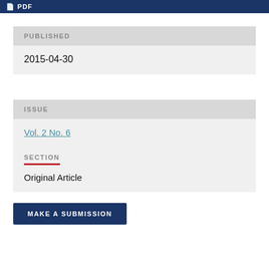PDF
PUBLISHED
2015-04-30
ISSUE
Vol. 2 No. 6
SECTION
Original Article
MAKE A SUBMISSION